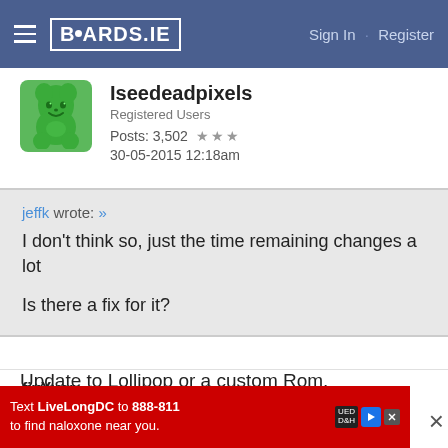BOARDS.IE  Sign In · Register
Iseedeadpixels
Registered Users
Posts: 3,502 ★★★
30-05-2015 12:18am
jeffk wrote: »
I don't think so, just the time remaining changes a lot

Is there a fix for it?
Update to Lollipop or a custom Rom.
fixXyer
[Figure (screenshot): Ad banner: Text LiveLongDC to 888-811 to find naloxone near you.]